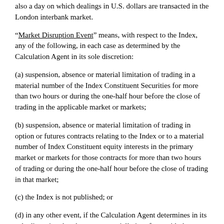also a day on which dealings in U.S. dollars are transacted in the London interbank market.
“Market Disruption Event” means, with respect to the Index, any of the following, in each case as determined by the Calculation Agent in its sole discretion:
(a) suspension, absence or material limitation of trading in a material number of the Index Constituent Securities for more than two hours or during the one-half hour before the close of trading in the applicable market or markets;
(b) suspension, absence or material limitation of trading in option or futures contracts relating to the Index or to a material number of Index Constituent equity interests in the primary market or markets for those contracts for more than two hours of trading or during the one-half hour before the close of trading in that market;
(c) the Index is not published; or
(d) in any other event, if the Calculation Agent determines in its sole discretion that the event materially interferes with the Company’s ability or the ability of any of the Company’s affiliates to unwind all or a material portion of a hedge with respect to the Securities that the Company or the Company’s affiliates have effected or may effect.